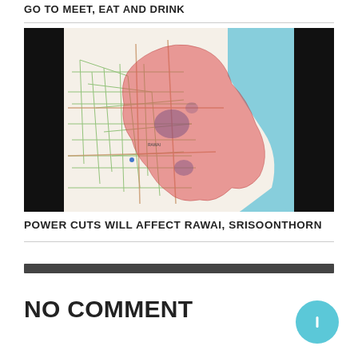GO TO MEET, EAT AND DRINK
[Figure (map): A map showing Rawai and Srisoonthorn areas in Phuket, Thailand, with a large red/pink shaded region indicating the power cut affected area, overlaid on a street map with a light blue ocean/sea area to the right. Black bars appear on the left and right edges of the image.]
POWER CUTS WILL AFFECT RAWAI, SRISOONTHORN
NO COMMENT